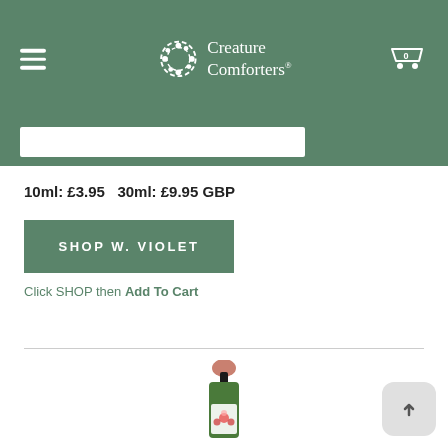Creature Comforters
10ml: £3.95   30ml: £9.95 GBP
SHOP W. VIOLET
Click SHOP then Add To Cart
[Figure (photo): A small green dropper bottle with a salmon/pink rubber top and floral label, partially visible at bottom of page]